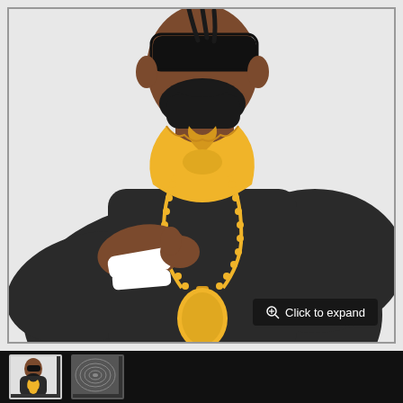[Figure (illustration): Flat vector illustration of a dark-skinned man from the waist up wearing a black outfit with a yellow/gold bandana around his neck and a large gold oval pendant necklace. He has a black beard and black sunglasses. His left arm is wrapped in white bandaging/cast and he holds it across his body. Background is light grey.]
[Figure (illustration): Small thumbnail of the same flat vector illustration of the man with yellow bandana and gold chain, active/selected thumbnail.]
[Figure (illustration): Small circular thumbnail showing a different angle or alternate image, grey tones.]